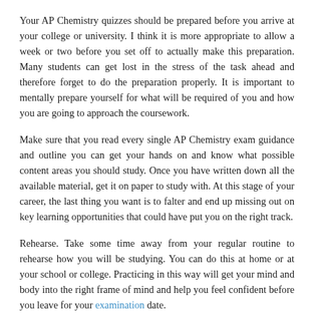Your AP Chemistry quizzes should be prepared before you arrive at your college or university. I think it is more appropriate to allow a week or two before you set off to actually make this preparation. Many students can get lost in the stress of the task ahead and therefore forget to do the preparation properly. It is important to mentally prepare yourself for what will be required of you and how you are going to approach the coursework.
Make sure that you read every single AP Chemistry exam guidance and outline you can get your hands on and know what possible content areas you should study. Once you have written down all the available material, get it on paper to study with. At this stage of your career, the last thing you want is to falter and end up missing out on key learning opportunities that could have put you on the right track.
Rehearse. Take some time away from your regular routine to rehearse how you will be studying. You can do this at home or at your school or college. Practicing in this way will get your mind and body into the right frame of mind and help you feel confident before you leave for your examination date.